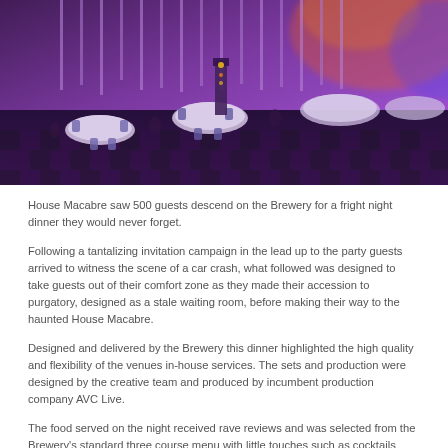[Figure (photo): Interior of a large event venue decorated with purple and pink lighting, round tables with white tablecloths set for a dinner event, industrial-style ceiling with hanging lights, checkered floor pattern visible.]
House Macabre saw 500 guests descend on the Brewery for a fright night dinner they would never forget.
Following a tantalizing invitation campaign in the lead up to the party guests arrived to witness the scene of a car crash, what followed was designed to take guests out of their comfort zone as they made their accession to purgatory, designed as a stale waiting room, before making their way to the haunted House Macabre.
Designed and delivered by the Brewery this dinner highlighted the high quality and flexibility of the venues in-house services. The sets and production were designed by the creative team and produced by incumbent production company AVC Live.
The food served on the night received rave reviews and was selected from the Brewery's standard three course menu with little touches such as cocktails served from water coolers and edible fingers in boxes adding the fun finishing touches to the stunning dinner event.